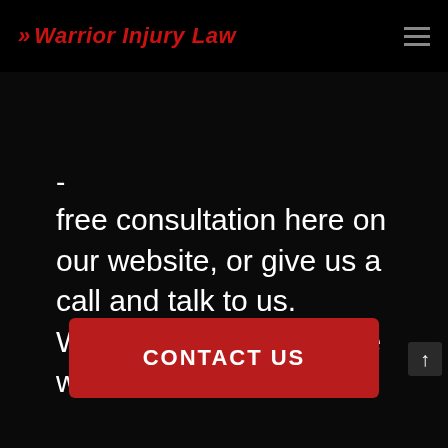Warrior Injury Law
- free consultation here on our website, or give us a call and talk to us. Whatever you prefer, we will accomodate you!
CONTACT US